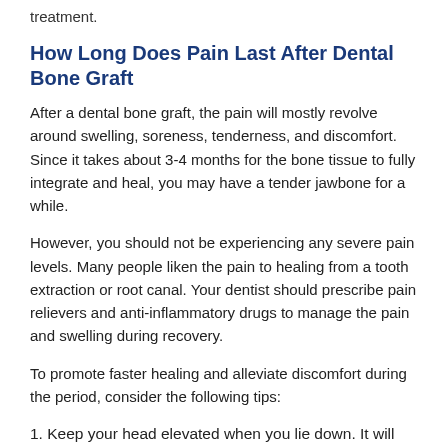treatment.
How Long Does Pain Last After Dental Bone Graft
After a dental bone graft, the pain will mostly revolve around swelling, soreness, tenderness, and discomfort. Since it takes about 3-4 months for the bone tissue to fully integrate and heal, you may have a tender jawbone for a while.
However, you should not be experiencing any severe pain levels. Many people liken the pain to healing from a tooth extraction or root canal. Your dentist should prescribe pain relievers and anti-inflammatory drugs to manage the pain and swelling during recovery.
To promote faster healing and alleviate discomfort during the period, consider the following tips:
1. Keep your head elevated when you lie down. It will reduce blood pooling in your head, which